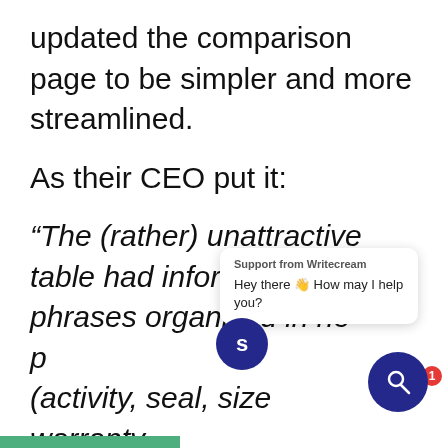updated the comparison page to be simpler and more streamlined.
As their CEO put it:
“The (rather) unattractive table had information in terse phrases organized in no p (activity, seal, size warranty, dep ). The paragraph continued below the fold and essentially repeated the table,
[Figure (other): Chat support popup from Writecream with text 'Hey there 👋 How may I help you?', a blue circular avatar with letter S, and a blue search button with red notification badge showing '1'.]